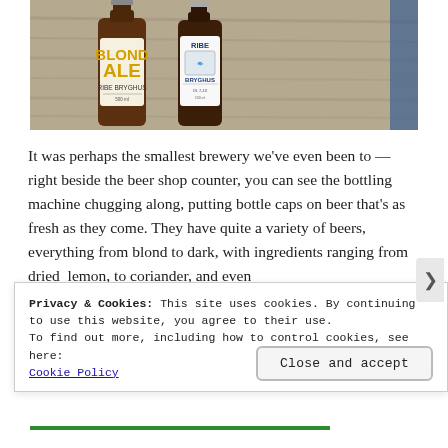[Figure (photo): Two beer bottles from Ribe Bryghus on a wooden surface. Left bottle has a yellow label reading 'Blond ALE RIBE BRYGHUS'. Right bottle has a white/blue label reading 'RIBE BRYGHUS'.]
It was perhaps the smallest brewery we've even been to — right beside the beer shop counter, you can see the bottling machine chugging along, putting bottle caps on beer that's as fresh as they come. They have quite a variety of beers, everything from blond to dark, with ingredients ranging from dried lemon, to coriander, and even
Privacy & Cookies: This site uses cookies. By continuing to use this website, you agree to their use.
To find out more, including how to control cookies, see here:
Cookie Policy
Close and accept